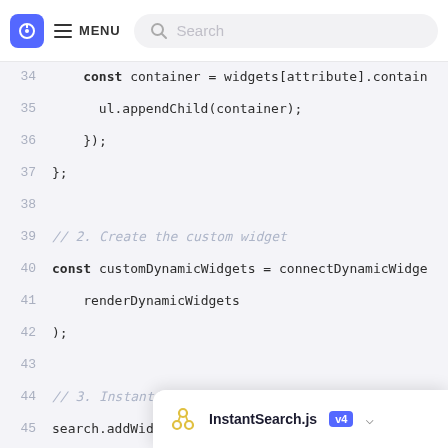MENU | Search bar
[Figure (screenshot): Code editor screenshot showing JavaScript code lines 34-48 with syntax highlighting on a light purple background, plus a popup tooltip showing 'InstantSearch.js v4']